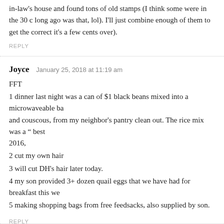in-law's house and found tons of old stamps (I think some were in the 30 c long ago was that, lol). I'll just combine enough of them to get the correct it's a few cents over).
REPLY
Joyce  January 25, 2018 at 11:19 am
FFT
1 dinner last night was a can of $1 black beans mixed into a microwaveable ba and couscous, from my neighbor's pantry clean out. The rice mix was a " best 2016,
2 cut my own hair
3 will cut DH's hair later today.
4 my son provided 3+ dozen quail eggs that we have had for breakfast this we
5 making shopping bags from free feedsacks, also supplied by son.
REPLY